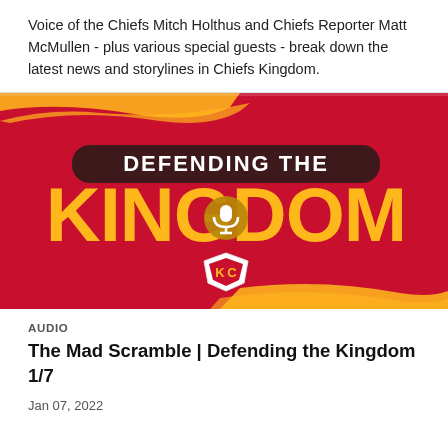Voice of the Chiefs Mitch Holthus and Chiefs Reporter Matt McMullen - plus various special guests - break down the latest news and storylines in Chiefs Kingdom.
[Figure (photo): Podcast cover art for 'Defending the Kingdom' featuring large yellow text 'KINGDOM' and 'DEFENDING THE' on a red background with gold paint strokes, a gold circle with microphone icon in the center, and the Kansas City Chiefs arrowhead logo below.]
AUDIO
The Mad Scramble | Defending the Kingdom 1/7
Jan 07, 2022